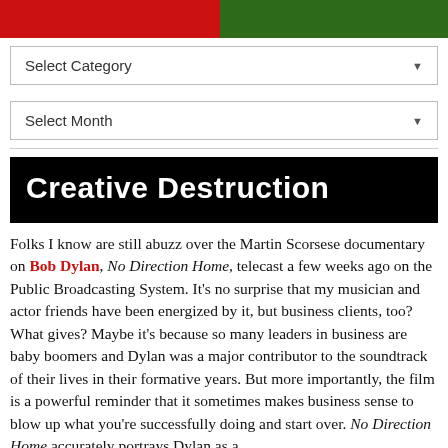[Figure (photo): Two images side by side at the top: left is a red/dark image, right is a green foliage image]
Select Category ▼
Select Month ▼
Creative Destruction
Folks I know are still abuzz over the Martin Scorsese documentary on Bob Dylan, No Direction Home, telecast a few weeks ago on the Public Broadcasting System. It's no surprise that my musician and actor friends have been energized by it, but business clients, too? What gives? Maybe it's because so many leaders in business are baby boomers and Dylan was a major contributor to the soundtrack of their lives in their formative years. But more importantly, the film is a powerful reminder that it sometimes makes business sense to blow up what you're successfully doing and start over. No Direction Home accurately portrays Dylan as a